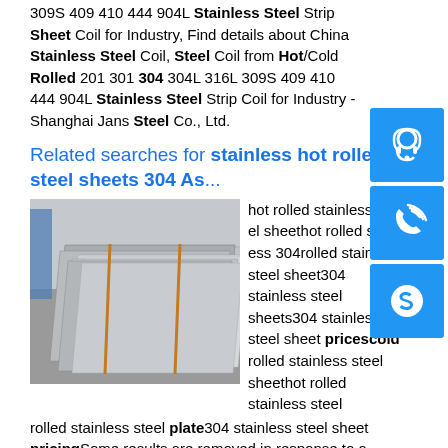309S 409 410 444 904L Stainless Steel Strip Sheet Coil for Industry, Find details about China Stainless Steel Coil, Steel Coil from Hot/Cold Rolled 201 301 304 304L 316L 309S 409 410 444 904L Stainless Steel Strip Coil for Industry - Shanghai Jans Steel Co., Ltd.
[Figure (other): Blue icon boxes on right sidebar: customer service headset icon, phone/call icon, Skype icon]
Related searches for stainless hot rolled steel sheets 304 As...
[Figure (photo): Stack of stainless steel sheets/plates in warehouse]
hot rolled stainless steel sheethot rolled stainless 304rolled stainless steel sheet304 stainless steel sheets304 stainless steel sheet pricescold rolled stainless steel sheethot rolled stainless steel plate304 stainless steel sheet pricingSome results are removed in response to a notice of local law requirement. For more information, please see